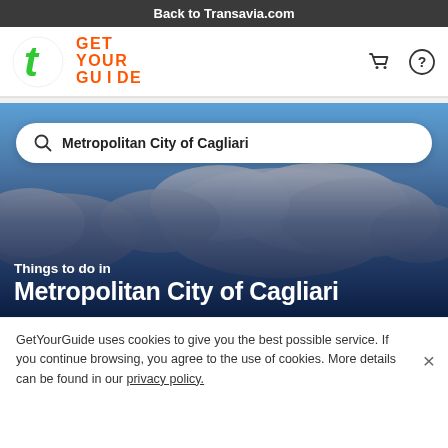Back to Transavia.com
[Figure (logo): Transavia green 't' logo (circular) and GetYourGuide orange wordmark logo, with shopping cart and help icons on the right]
[Figure (photo): Blue sky with white clouds background image with search bar overlay reading 'Metropolitan City of Cagliari', and overlay text 'Things to do in Metropolitan City of Cagliari']
GetYourGuide uses cookies to give you the best possible service. If you continue browsing, you agree to the use of cookies. More details can be found in our privacy policy.